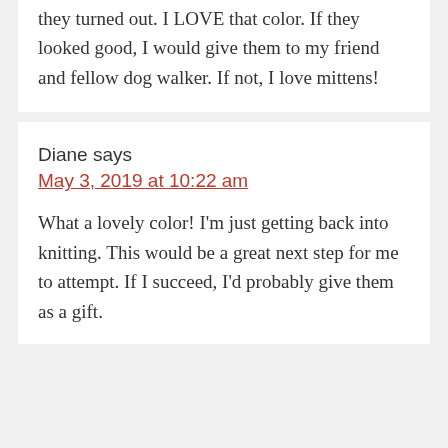they turned out. I LOVE that color. If they looked good, I would give them to my friend and fellow dog walker. If not, I love mittens!
Diane says
May 3, 2019 at 10:22 am
What a lovely color! I'm just getting back into knitting. This would be a great next step for me to attempt. If I succeed, I'd probably give them as a gift.